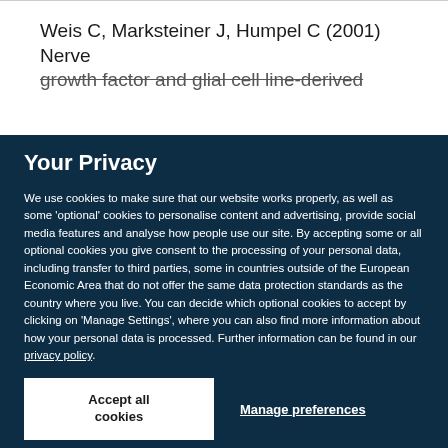Weis C, Marksteiner J, Humpel C (2001) Nerve growth factor and glial cell line-derived
Your Privacy
We use cookies to make sure that our website works properly, as well as some 'optional' cookies to personalise content and advertising, provide social media features and analyse how people use our site. By accepting some or all optional cookies you give consent to the processing of your personal data, including transfer to third parties, some in countries outside of the European Economic Area that do not offer the same data protection standards as the country where you live. You can decide which optional cookies to accept by clicking on 'Manage Settings', where you can also find more information about how your personal data is processed. Further information can be found in our privacy policy.
Accept all cookies
Manage preferences